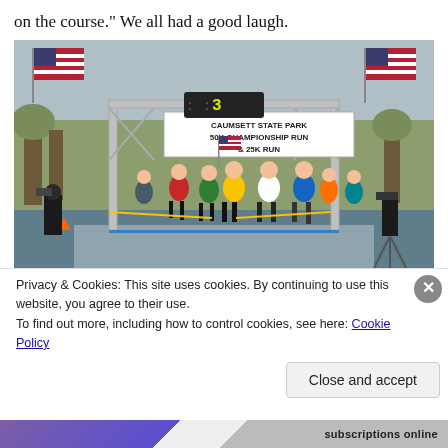on the course." We all had a good laugh.
[Figure (photo): Race start at Caumsett State Park 50K Championship Run & 25K Run. Runners under a metal archway with American flags on either side and a digital clock displaying 3. A banner reads 'CAUMSETT STATE PARK 50K CHAMPIONSHIP RUN & 25K RUN'. Crowd of runners at the starting line on a paved road with bare trees in the background.]
Privacy & Cookies: This site uses cookies. By continuing to use this website, you agree to their use.
To find out more, including how to control cookies, see here: Cookie Policy
Close and accept
subscriptions online